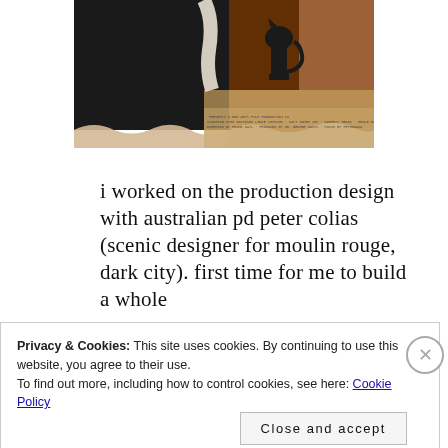[Figure (illustration): Film poster or theatrical artwork showing a silhouette of a cat on an orange/brown and black background with small text credits at the bottom.]
i worked on the production design with australian pd peter colias (scenic designer for moulin rouge, dark city). first time for me to build a whole
Privacy & Cookies: This site uses cookies. By continuing to use this website, you agree to their use.
To find out more, including how to control cookies, see here: Cookie Policy
Close and accept